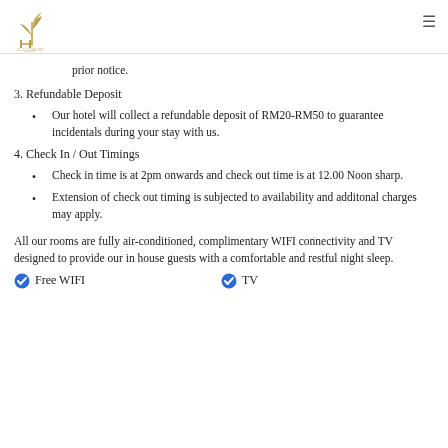Hotel logo and navigation
prior notice.
3. Refundable Deposit
Our hotel will collect a refundable deposit of RM20-RM50 to guarantee incidentals during your stay with us.
4. Check In / Out Timings
Check in time is at 2pm onwards and check out time is at 12.00 Noon sharp.
Extension of check out timing is subjected to availability and additonal charges may apply.
All our rooms are fully air-conditioned, complimentary WIFI connectivity and TV designed to provide our in house guests with a comfortable and restful night sleep.
Free WIFI
TV